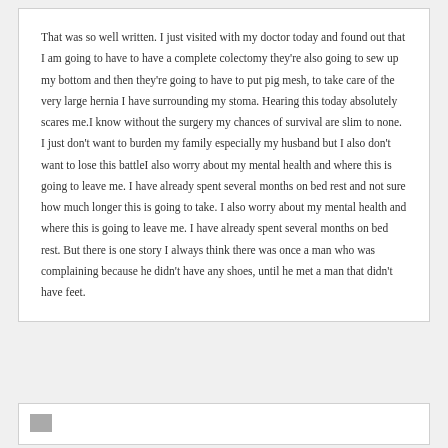That was so well written. I just visited with my doctor today and found out that I am going to have to have a complete colectomy they're also going to sew up my bottom and then they're going to have to put pig mesh, to take care of the very large hernia I have surrounding my stoma. Hearing this today absolutely scares me.I know without the surgery my chances of survival are slim to none. I just don't want to burden my family especially my husband but I also don't want to lose this battleI also worry about my mental health and where this is going to leave me. I have already spent several months on bed rest and not sure how much longer this is going to take. I also worry about my mental health and where this is going to leave me. I have already spent several months on bed rest. But there is one story I always think there was once a man who was complaining because he didn't have any shoes, until he met a man that didn't have feet.